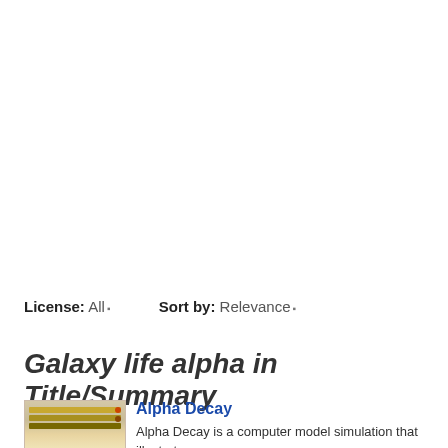License: All ▾    Sort by: Relevance ▾
Galaxy life alpha in Title/Summary
[Figure (screenshot): Thumbnail screenshot of Alpha Decay simulation software showing a Windows application interface with colored bars and controls]
Alpha Decay
Alpha Decay is a computer model simulation that illustrates